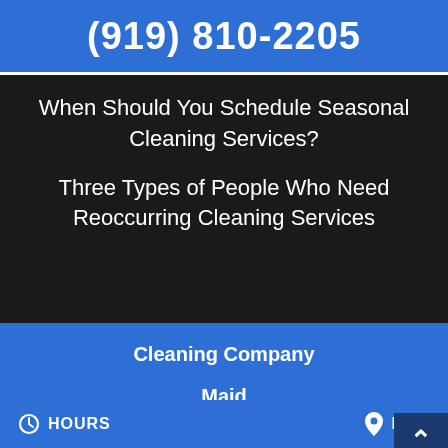(919) 810-2205
When Should You Schedule Seasonal Cleaning Services?
Three Types of People Who Need Reoccurring Cleaning Services
Cleaning Company
Maid
Cleaning Contractor
Residential Cleaning
HOURS   MAP